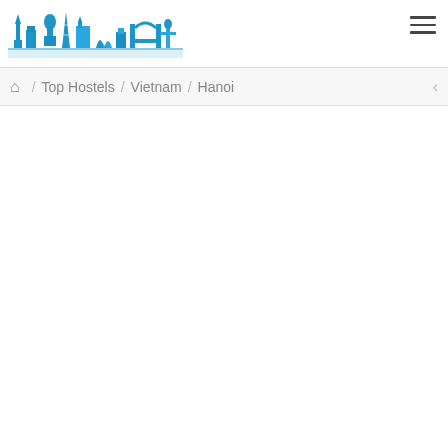[Figure (logo): Hostels Network logo with illustrated skyline silhouette in blue tones and text 'Hostels Network' below]
≡ (hamburger menu icon)
🏠 / Top Hostels / Vietnam / Hanoi <